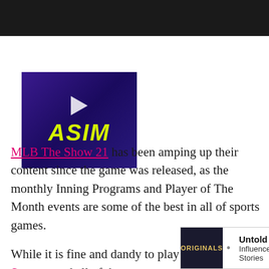[Figure (photo): Video thumbnail showing a person with 'ASIM' text in yellow/green on dark purple background with a play button icon]
MLB The Show 21 has been amping up their content since the game was released, as the monthly Inning Programs and Player of The Month events are some of the best in all of sports games.
While it is fine and dandy to play Ranked Seasons and all of the moments within Diamond Dynasty, the Conquest game mode is one of the premier ways for player
[Figure (screenshot): Advertisement banner for Originals: Untold Influencer Stories with Learn More button]